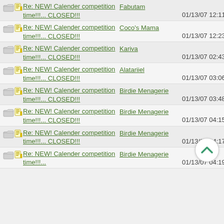Re: NEW! Calender competition time!!!... CLOSED!!! | Fabutam | 01/13/07 12:11 AM
Re: NEW! Calender competition time!!!... CLOSED!!! | Coco's Mama | 01/13/07 12:23 AM
Re: NEW! Calender competition time!!!... CLOSED!!! | Kariva | 01/13/07 02:43 AM
Re: NEW! Calender competition time!!!... CLOSED!!! | Alatariiel | 01/13/07 03:06 AM
Re: NEW! Calender competition time!!!... CLOSED!!! | Birdie Menagerie | 01/13/07 03:48 AM
Re: NEW! Calender competition time!!!... CLOSED!!! | Birdie Menagerie | 01/13/07 04:15 AM
Re: NEW! Calender competition time!!!... CLOSED!!! | Birdie Menagerie | 01/13/07 04:17 AM
Re: NEW! Calender competition time!!!... CLOSED!!! | Birdie Menagerie | 01/13/07 04:19 AM